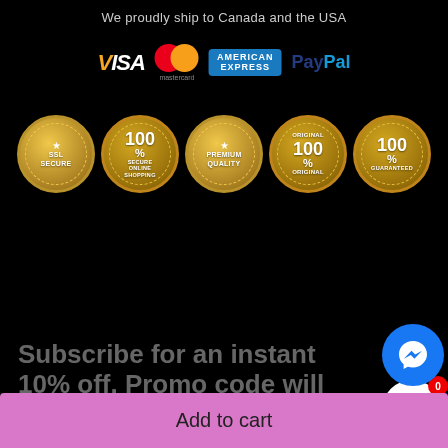We proudly ship to Canada and the USA
[Figure (logo): Payment method logos: VISA, Mastercard, American Express, PayPal]
[Figure (infographic): Five gold circular trust badges: SSL Secure, 100% Secure Online Shopping, Premium Quality, 100% Original, 100% Satisfaction Guaranteed]
Subscribe for an instant 10% off. Promo code will be sent to your inbox
[Figure (other): Shopping cart button with badge showing 0]
[Figure (other): Facebook Messenger chat button]
Add to cart